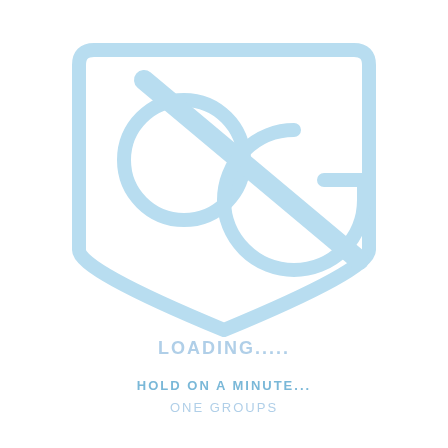[Figure (logo): OG logo — a light blue shield/pentagon shape containing the letters O and G stylized, with a diagonal slash across the shield. The logo is rendered in a very light blue/pale color on white background.]
LOADING.....
HOLD ON A MINUTE...
ONE GROUPS